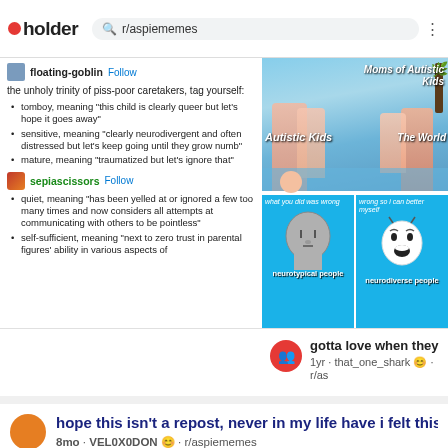pholder · r/aspiememes
floating-goblin Follow
the unholy trinity of piss-poor caretakers, tag yourself:
tomboy, meaning "this child is clearly queer but let's hope it goes away"
sensitive, meaning "clearly neurodivergent and often distressed but let's keep going until they grow numb"
mature, meaning "traumatized but let's ignore that"
sepiascissors Follow
quiet, meaning "has been yelled at or ignored a few too many times and now considers all attempts at communicating with others to be pointless"
self-sufficient, meaning "next to zero trust in parental figures' ability in various aspects of
[Figure (photo): Meme image with two panels. Top panel: photo of mothers and children at a pool with text 'Moms of Autistic Kids', 'Autistic Kids', 'The World'. Bottom panel: two NPC-style cartoon heads on blue background with text 'what you did was wrong' (neurotypical people) and 'wrong so i can better myself' (neurodiverse people).]
gotta love when they wo
1yr · that_one_shark · r/as
hope this isn't a repost, never in my life have i felt this c
8mo · VEL0X0DON · r/aspiememes